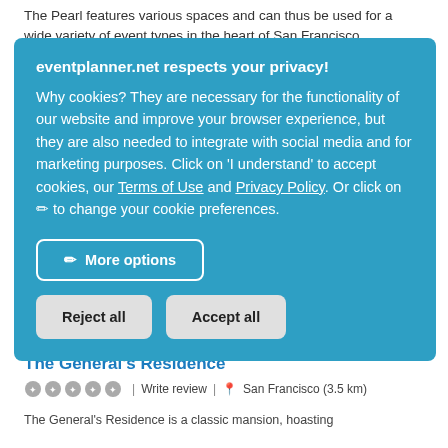The Pearl features various spaces and can thus be used for a wide variety of event types in the heart of San Francisco
eventplanner.net respects your privacy! Why cookies? They are necessary for the functionality of our website and improve your browser experience, but they are also needed to integrate with social media and for marketing purposes. Click on 'I understand' to accept cookies, our Terms of Use and Privacy Policy. Or click on ✏ to change your cookie preferences.
More options
Reject all
Accept all
The General's Residence
Write review | San Francisco (3.5 km)
The General's Residence is a classic mansion, hoasting